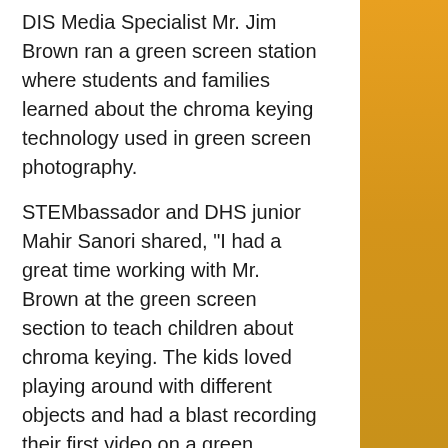DIS Media Specialist Mr. Jim Brown ran a green screen station where students and families learned about the chroma keying technology used in green screen photography. STEMbassador and DHS junior Mahir Sanori shared, "I had a great time working with Mr. Brown at the green screen section to teach children about chroma keying. The kids loved playing around with different objects and had a blast recording their first video on a green screen."

In the pictures below, you can see the green screen technology at work, with the green backdrop replaced with the moon and Mars backgrounds on the computer screen in the photos.